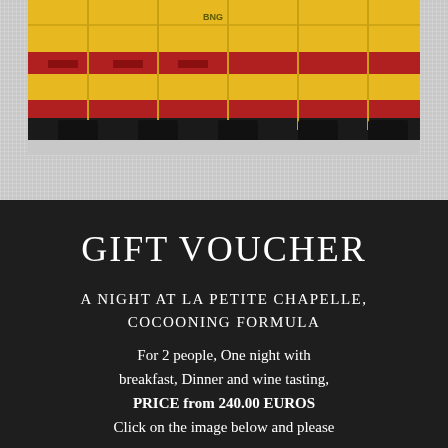[Figure (photo): Photograph of yellow and red train carriages at a station platform, viewed from a low angle showing the side and undercarriage of the carriages.]
GIFT VOUCHER
A NIGHT AT LA PETITE CHAPELLE, COCOONING FORMULA
For 2 people, One night with breakfast, Dinner and wine tasting, PRICE from 240.00 EUROS
Click on the image below and please